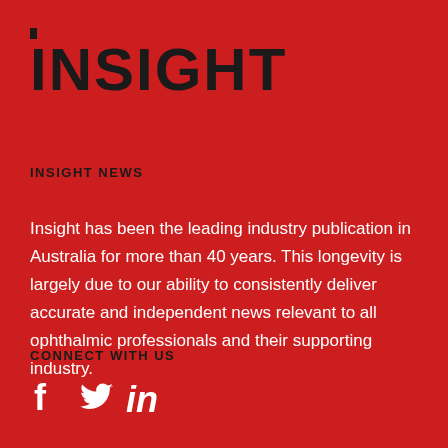INSIGHT
INSIGHT NEWS
Insight has been the leading industry publication in Australia for more than 40 years. This longevity is largely due to our ability to consistently deliver accurate and independent news relevant to all ophthalmic professionals and their supporting industry.
CONNECT WITH US
[Figure (illustration): Social media icons: Facebook, Twitter, LinkedIn in white]